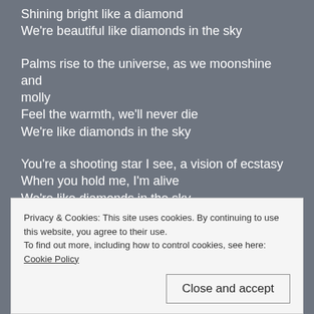Shining bright like a diamond
We're beautiful like diamonds in the sky
Palms rise to the universe, as we moonshine and molly
Feel the warmth, we'll never die
We're like diamonds in the sky
You're a shooting star I see, a vision of ecstasy
When you hold me, I'm alive
We're like diamonds in the sky
At first sight I felt the energy of sun rays
Privacy & Cookies: This site uses cookies. By continuing to use this website, you agree to their use. To find out more, including how to control cookies, see here: Cookie Policy
You and I